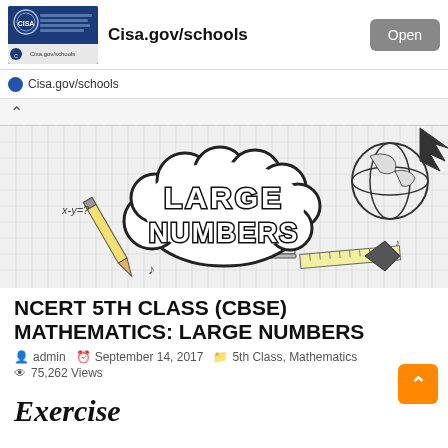[Figure (screenshot): Ad banner for Cisa.gov/schools with thumbnail image, bold title text, and Open button]
Cisa.gov/schools
[Figure (illustration): Doodle-style illustration with school supplies, globe, arrows, and a cloud speech bubble containing text LARGE NUMBERS on a graph paper background]
NCERT 5TH CLASS (CBSE) MATHEMATICS: LARGE NUMBERS
admin   September 14, 2017   5th Class, Mathematics
75,262 Views
Exercise